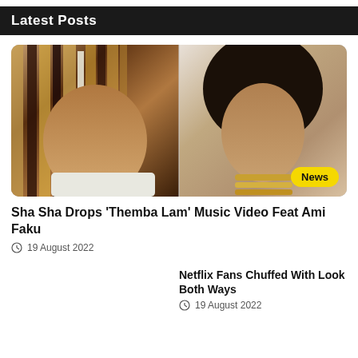Latest Posts
[Figure (photo): Composite photo of two women: left side shows a woman with blonde and brown box braids wearing a white turtleneck; right side shows a woman with a natural afro hairstyle wearing a gold neck ring/collar. A yellow 'News' badge is in the bottom right.]
Sha Sha Drops ‘Themba Lam’ Music Video Feat Ami Faku
19 August 2022
Netflix Fans Chuffed With Look Both Ways
19 August 2022